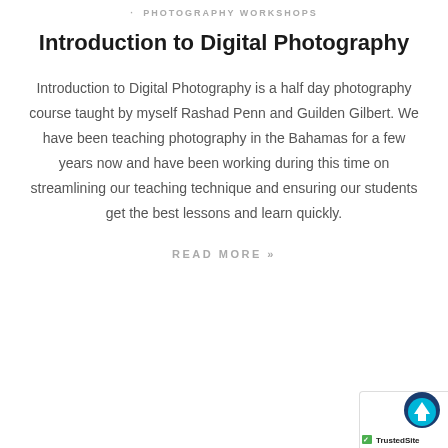PHOTOGRAPHY WORKSHOPS
Introduction to Digital Photography
Introduction to Digital Photography is a half day photography course taught by myself Rashad Penn and Guilden Gilbert. We have been teaching photography in the Bahamas for a few years now and have been working during this time on streamlining our teaching technique and ensuring our students get the best lessons and learn quickly.
READ MORE »
[Figure (logo): TrustedSite badge with shield icon in teal and dark blue and TrustedSite text with green checkmark]